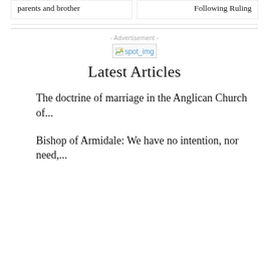parents and brother
Following Ruling
- Advertisement -
[Figure (other): spot_img placeholder image icon with text 'spot_img']
Latest Articles
The doctrine of marriage in the Anglican Church of...
Bishop of Armidale: We have no intention, nor need,...